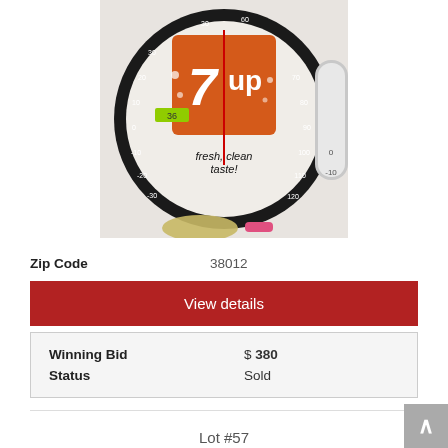[Figure (photo): A vintage 7Up branded circular thermometer with black rim, white face showing temperature scale markings, orange and white 7Up logo in the center, text 'fresh, clean taste!' visible. A price tag reading '36' is visible. Partial view of another thermometer on the right side.]
Zip Code    38012
View details
| Winning Bid | $ 380 |
| Status | Sold |
Lot #57
7UP WRITE-ON BOARD, METAL AND 7UP POSTER